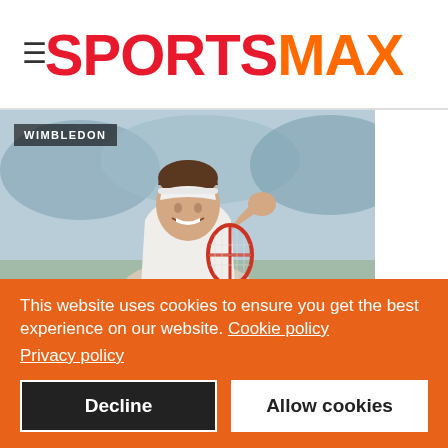SPORTSMAX
[Figure (photo): Tennis player Alize Cornet smiling and clapping at Wimbledon, holding a red and white racket, wearing a white visor and white tennis outfit, with a 'WIMBLEDON' badge overlay on the photo]
Wimbledon: Cornet uncorks a vintage treat as punch-drunk Swiatek tumbles out
This website uses cookies to ensure you get the best experience on our website. Cookie policy Privacy policy
Decline   Allow cookies